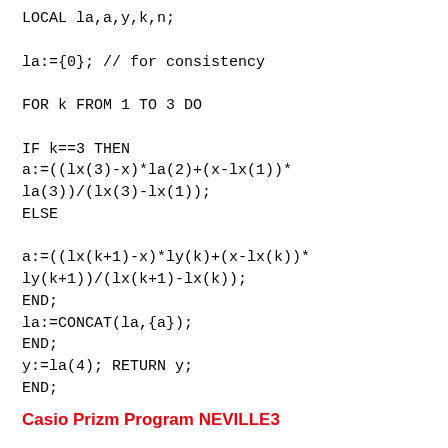LOCAL la,a,y,k,n;

la:={0}; // for consistency

FOR k FROM 1 TO 3 DO

IF k==3 THEN
a:=((lx(3)-x)*la(2)+(x-lx(1))*
la(3))/(lx(3)-lx(1));
ELSE

a:=((lx(k+1)-x)*ly(k)+(x-lx(k))*
ly(k+1))/(lx(k+1)-lx(k));
END;
la:=CONCAT(la,{a});
END;
y:=la(4); RETURN y;
END;
Casio Prizm Program NEVILLE3